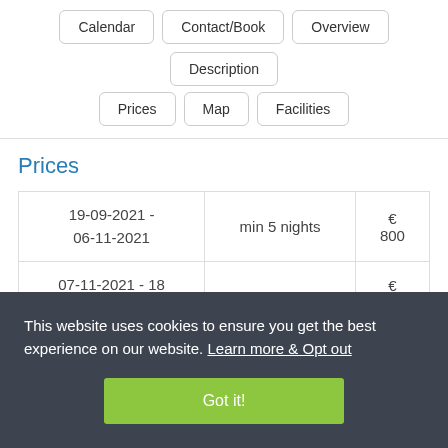Calendar | Contact/Book | Overview | Description | Prices | Map | Facilities
Prices
| Date Range | Min Stay | Price |
| --- | --- | --- |
| 19-09-2021 -
06-11-2021 | min 5 nights | € 800 |
| 07-11-2021 - ... |  | € ... |
This website uses cookies to ensure you get the best experience on our website. Learn more & Opt out
Got it!